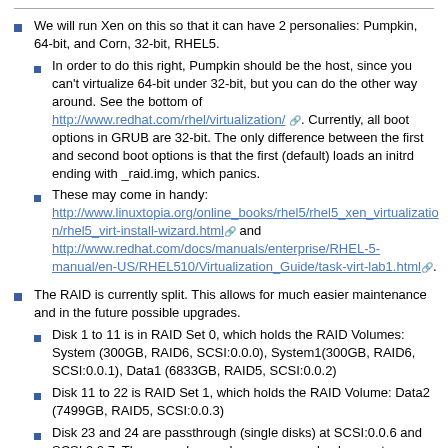We will run Xen on this so that it can have 2 personalies: Pumpkin, 64-bit, and Corn, 32-bit, RHEL5.
In order to do this right, Pumpkin should be the host, since you can't virtualize 64-bit under 32-bit, but you can do the other way around. See the bottom of http://www.redhat.com/rhel/virtualization/. Currently, all boot options in GRUB are 32-bit. The only difference between the first and second boot options is that the first (default) loads an initrd ending with _raid.img, which panics.
These may come in handy: http://www.linuxtopia.org/online_books/rhel5/rhel5_xen_virtualization/rhel5_virt-install-wizard.html and http://www.redhat.com/docs/manuals/enterprise/RHEL-5-manual/en-US/RHEL510/Virtualization_Guide/task-virt-lab1.html.
The RAID is currently split. This allows for much easier maintenance and in the future possible upgrades.
Disk 1 to 11 is in RAID Set 0, which holds the RAID Volumes: System (300GB, RAID6, SCSI:0.0.0), System1(300GB, RAID6, SCSI:0.0.1), Data1 (6833GB, RAID5, SCSI:0.0.2)
Disk 11 to 22 is RAID Set 1, which holds the RAID Volume: Data2 (7499GB, RAID5, SCSI:0.0.3)
Disk 23 and 24 are passthrough (single disks) at SCSI:0.0.6 and SCSI:0.0.7. These can be used as spares, as backup, or to expand